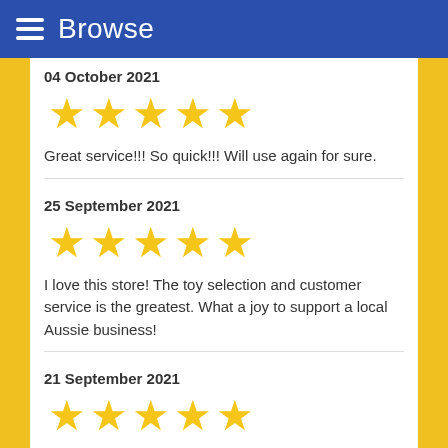Browse
04 October 2021
[Figure (other): Five gold stars rating]
Great service!!! So quick!!! Will use again for sure.
25 September 2021
[Figure (other): Five gold stars rating]
I love this store! The toy selection and customer service is the greatest. What a joy to support a local Aussie business!
21 September 2021
[Figure (other): Five gold stars rating (partial, cut off at bottom)]